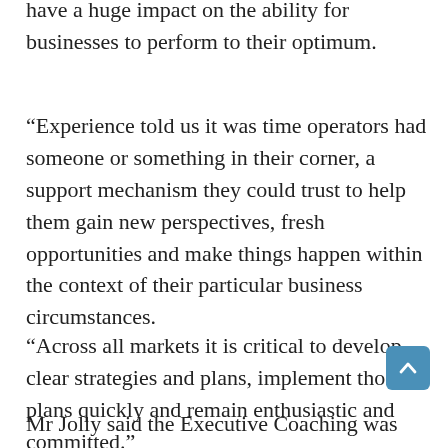have a huge impact on the ability for businesses to perform to their optimum.
“Experience told us it was time operators had someone or something in their corner, a support mechanism they could trust to help them gain new perspectives, fresh opportunities and make things happen within the context of their particular business circumstances.
“Across all markets it is critical to develop clear strategies and plans, implement those plans quickly and remain enthusiastic and committed.”
Mr Jolly said the Executive Coaching was designed to